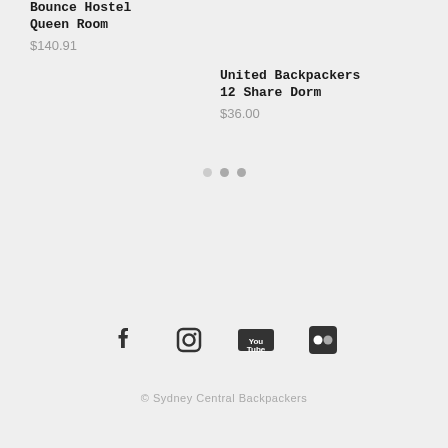Bounce Hostel Queen Room
$140.91
United Backpackers 12 Share Dorm
$36.00
[Figure (other): Pagination dots indicator with three circles]
[Figure (other): Social media icons: Facebook, Instagram, YouTube, Flickr]
© Sydney Central Backpackers